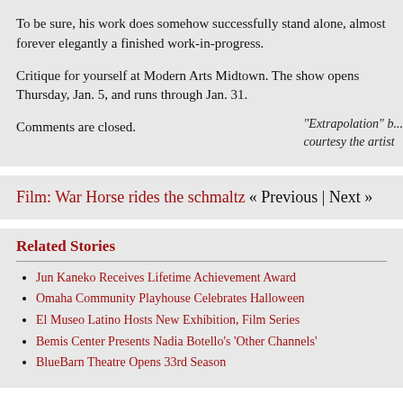To be sure, his work does somehow successfully stand alone, almost forever elegantly a finished work-in-progress.
Critique for yourself at Modern Arts Midtown. The show opens Thursday, Jan. 5, and runs through Jan. 31.
Comments are closed.
"Extrapolation" b... courtesy the artist
Film: War Horse rides the schmaltz « Previous | Next »
Related Stories
Jun Kaneko Receives Lifetime Achievement Award
Omaha Community Playhouse Celebrates Halloween
El Museo Latino Hosts New Exhibition, Film Series
Bemis Center Presents Nadia Botello's 'Other Channels'
BlueBarn Theatre Opens 33rd Season